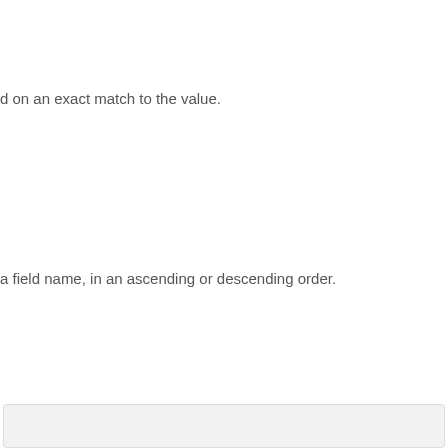d on an exact match to the value.
a field name, in an ascending or descending order.
order.
sort.